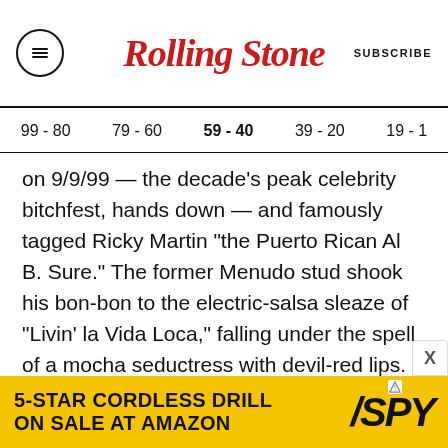RollingStone — SUBSCRIBE
99 - 80   79 - 60   59 - 40   39 - 20   19 - 1
on 9/9/99 — the decade's peak celebrity bitchfest, hands down — and famously tagged Ricky Martin "the Puerto Rican Al B. Sure." The former Menudo stud shook his bon-bon to the electric-salsa sleaze of "Livin' la Vida Loca," falling under the spell of a mocha seductress with devil-red lips. (Does she bang? She bangs.) He also earned a shout-out in Sisqo's "Thong Song." Ricky's popularity took a dive after his disastrous dance with President George W. Bush at the Lincoln Memorial inaugural celebration, but he hung in
[Figure (other): Advertisement banner: 5-STAR CORDLESS DRILL ON SALE AT AMAZON with SPY logo on yellow background]